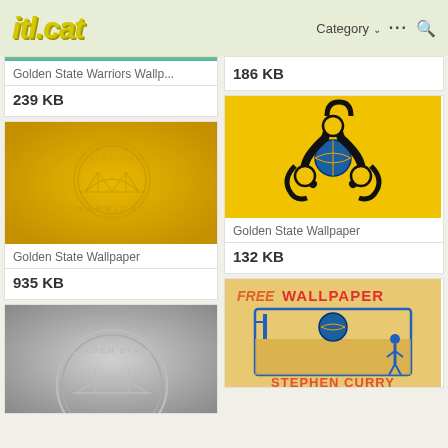itl.cat — Category ··· 🔍
Golden State Warriors Wallp...
239 KB
[Figure (photo): Golden State Warriors Wallpaper – gold background with Warriors circular logo/bridge emblem]
Golden State Wallpaper
935 KB
[Figure (photo): Golden State Warriors logo in a black-and-white grayscale style]
186 KB
[Figure (photo): Golden State Wallpaper – yellow background with biohazard symbol incorporating Warriors basketball logo]
Golden State Wallpaper
132 KB
[Figure (photo): Free Wallpaper – Stephen Curry illustrated wallpaper on tan/yellow background with Warriors branding]